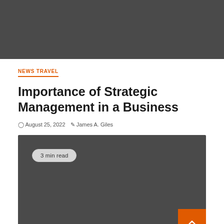[Figure (photo): Dark gray banner image at the top of the article page]
NEWS TRAVEL
Importance of Strategic Management in a Business
August 25, 2022   James A. Giles
[Figure (photo): Dark gray article featured image with '3 min read' badge and orange scroll-to-top button in bottom-right corner]